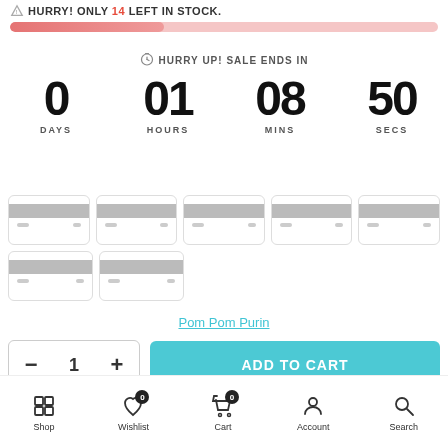HURRY! ONLY 14 LEFT IN STOCK.
[Figure (infographic): Horizontal progress bar showing stock level, approximately 36% filled in red/pink gradient on pink background track]
HURRY UP! SALE ENDS IN
0 DAYS  01 HOURS  08 MINS  50 SECS
[Figure (infographic): Grid of 7 payment method icons represented as stylized credit card placeholders, 5 in first row and 2 in second row]
Pom Pom Purin
- 1 +  ADD TO CART
Shop  Wishlist (0)  Cart (0)  Account  Search